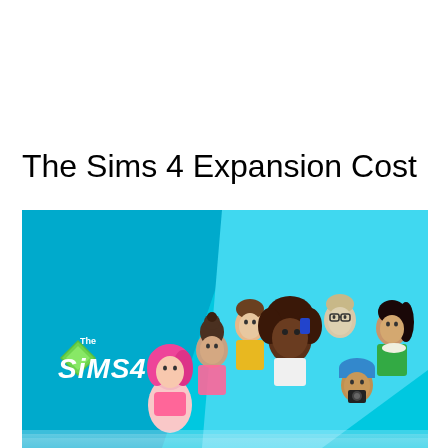The Sims 4 Expansion Cost
[Figure (illustration): The Sims 4 promotional banner image featuring multiple diverse Sim characters against a cyan and blue geometric background with The Sims 4 logo on the left side. Characters include a woman with pink hair, a woman in a pink top, a boy, a woman with curly hair taking a selfie, a man with glasses, a woman in green holding a plate, and a woman taking a photo with a camera.]